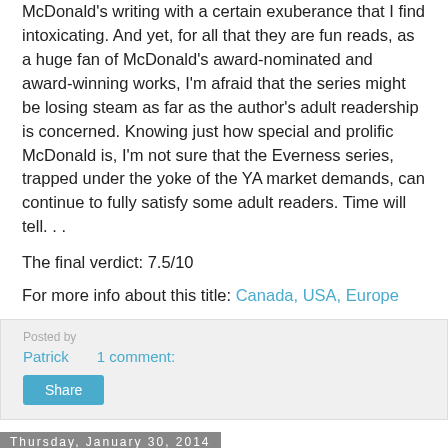McDonald's writing with a certain exuberance that I find intoxicating. And yet, for all that they are fun reads, as a huge fan of McDonald's award-nominated and award-winning works, I'm afraid that the series might be losing steam as far as the author's adult readership is concerned. Knowing just how special and prolific McDonald is, I'm not sure that the Everness series, trapped under the yoke of the YA market demands, can continue to fully satisfy some adult readers. Time will tell. . .
The final verdict: 7.5/10
For more info about this title: Canada, USA, Europe
Patrick   1 comment:
Share
Thursday, January 30, 2014
Exclusive extract from L. E. Modesitt, Jr.'s REX REGIS